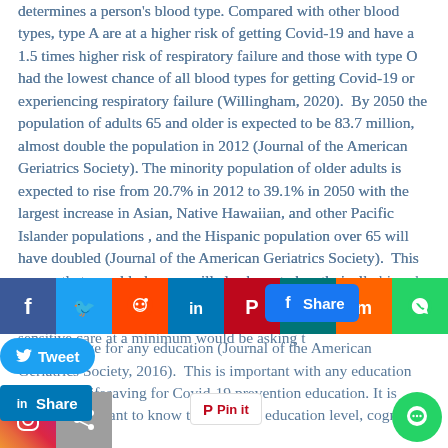determines a person's blood type. Compared with other blood types, type A are at a higher risk of getting Covid-19 and have a 1.5 times higher risk of respiratory failure and those with type O had the lowest chance of all blood types for getting Covid-19 or experiencing respiratory failure (Willingham, 2020).  By 2050 the population of adults 65 and older is expected to be 83.7 million, almost double the population in 2012 (Journal of the American Geriatrics Society). The minority population of older adults is expected to rise from 20.7% in 2012 to 39.1% in 2050 with the largest increase in Asian, Native Hawaiian, and other Pacific Islander populations , and the Hispanic population over 65 will have doubled (Journal of the American Geriatrics Society).  This means that our elderly care will also have to be ethnically sensitive. Culturally sensitive care at a minimum would be asking the patient their preferred language and offering interpreter service in that language for any education (Journal of the American Geriatrics Society, 2016).  This is important with any education but can be lifesaving for Covid-19 prevention education. It is equally important to know the patient's education level, cognition, and hearing to
[Figure (infographic): Social media sharing bar with Facebook, Twitter, Reddit, LinkedIn, Pinterest, MeWe, Mix, and WhatsApp icons overlaid on the text content]